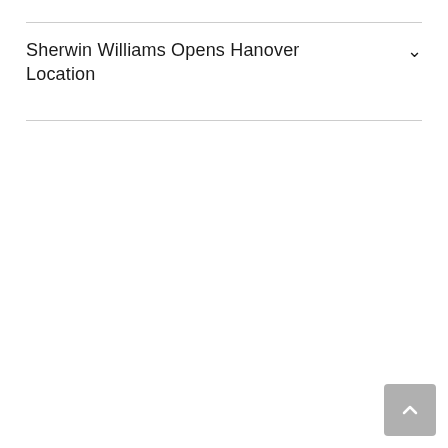Sherwin Williams Opens Hanover Location